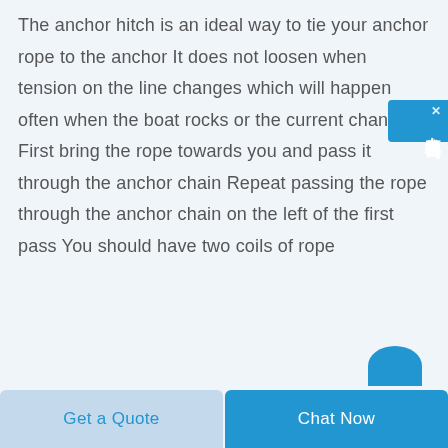The anchor hitch is an ideal way to tie your anchor rope to the anchor It does not loosen when tension on the line changes which will happen often when the boat rocks or the current changes First bring the rope towards you and pass it through the anchor chain Repeat passing the rope through the anchor chain on the left of the first pass You should have two coils of rope
[Figure (other): Chinese online chat widget button on right side reading '在线咨询' (online consultation) with a close X button]
Get a Quote
Chat Now